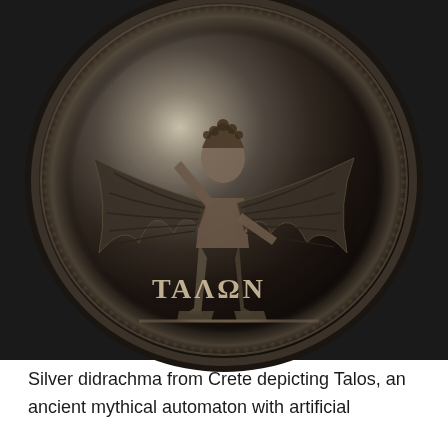[Figure (photo): Silver didrachma coin from Crete depicting Talos, a winged humanoid figure with arms outstretched, standing on a ground line. Greek letters TAΛΩN appear at the bottom of the coin face. The coin is silver-grey with dark patina, shown against a dark/black background.]
Silver didrachma from Crete depicting Talos, an ancient mythical automaton with artificial